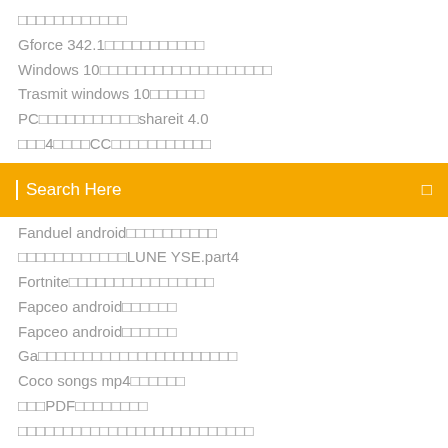□□□□□□□□□□□□
Gforce 342.1□□□□□□□□□□□
Windows 10□□□□□□□□□□□□□□□□□□□
Trasmit windows 10□□□□□□
PC□□□□□□□□□□□shareit 4.0
□□□4□□□□CC□□□□□□□□□□□
Search Here
Fanduel android□□□□□□□□□□
□□□□□□□□□□□□LUNE YSE.part4
Fortnite□□□□□□□□□□□□□□□□
Fapceo android□□□□□□
Fapceo android□□□□□□
Ga□□□□□□□□□□□□□□□□□□□□□□
Coco songs mp4□□□□□□
□□□PDF□□□□□□□□
□□□□□□□□□□□□□□□□□□□□□□□□□□
XIn□□□□□□□□□□□